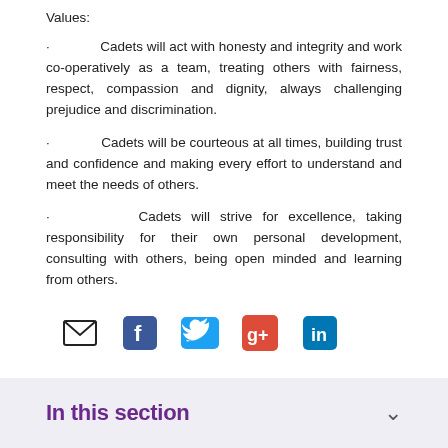Values:
· Cadets will act with honesty and integrity and work co-operatively as a team, treating others with fairness, respect, compassion and dignity, always challenging prejudice and discrimination.
· Cadets will be courteous at all times, building trust and confidence and making every effort to understand and meet the needs of others.
· Cadets will strive for excellence, taking responsibility for their own personal development, consulting with others, being open minded and learning from others.
[Figure (infographic): Social media share icons: email envelope, Facebook, Twitter, Google+, LinkedIn]
In this section